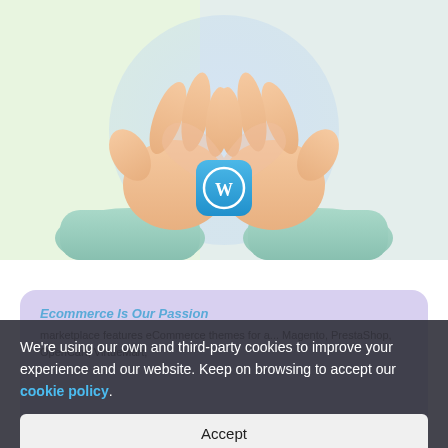[Figure (illustration): 3D illustration of two cartoon hands forming a heart shape, with a WordPress (W) app icon in the center, on a light green and lavender gradient background]
Ecommerce Is Our Passion
marketplace features eCommerce themes for a... Magento, PrestaShop, OpenCart, VirtueMart,
We're using our own and third-party cookies to improve your experience and our website. Keep on browsing to accept our cookie policy.
Accept